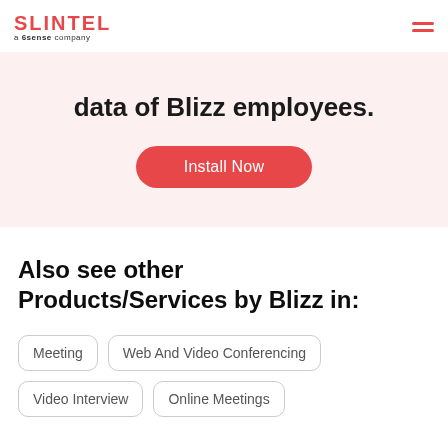SLINTEL a 6sense company
data of Blizz employees.
Install Now
Also see other Products/Services by Blizz in:
Meeting
Web And Video Conferencing
Video Interview
Online Meetings